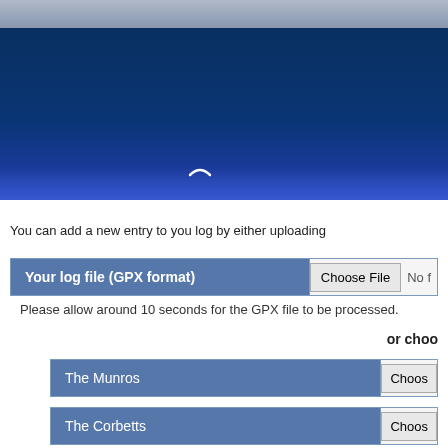[Figure (screenshot): Website header banner with sky photograph strip at top and large dark navy/blue gradient area below, with a small white logo mark near the bottom center]
You can add a new entry to you log by either uploading...
Your log file (GPX format)  Choose File  No file chosen
Please allow around 10 seconds for the GPX file to be processed.
or choo...
The Munros  Choose...
The Corbetts  Choose...